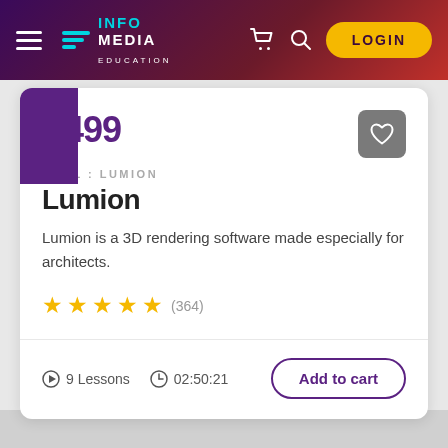[Figure (screenshot): InfoMedia Education website header with hamburger menu, logo, cart icon, search icon, and LOGIN button on a dark purple-to-red gradient background]
₹499
CIVIL : LUMION
Lumion
Lumion is a 3D rendering software made especially for architects.
★★★★★ (364)
⊙ 9 Lessons   🕐 02:50:21
Add to cart